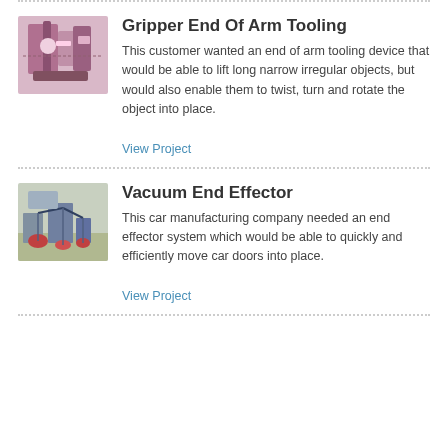[Figure (photo): Industrial gripper end of arm tooling device mounted on robotic arm, pink/purple background]
Gripper End Of Arm Tooling
This customer wanted an end of arm tooling device that would be able to lift long narrow irregular objects, but would also enable them to twist, turn and rotate the object into place.
View Project
[Figure (photo): Vacuum end effector system with hoses and components on a factory floor]
Vacuum End Effector
This car manufacturing company needed an end effector system which would be able to quickly and efficiently move car doors into place.
View Project